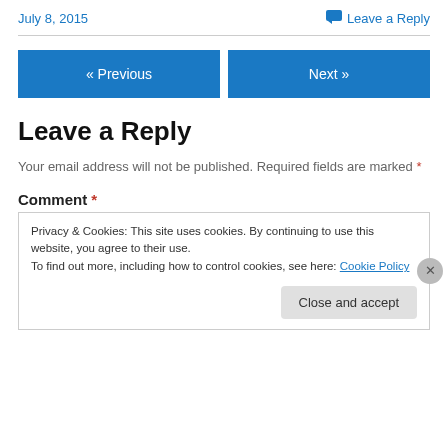July 8, 2015
Leave a Reply
« Previous
Next »
Leave a Reply
Your email address will not be published. Required fields are marked *
Comment *
Privacy & Cookies: This site uses cookies. By continuing to use this website, you agree to their use.
To find out more, including how to control cookies, see here: Cookie Policy
Close and accept